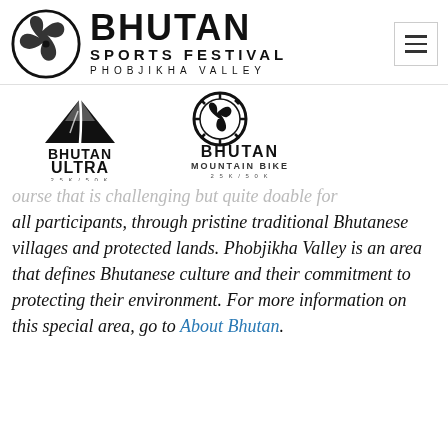[Figure (logo): Bhutan Sports Festival Phobjikha Valley logo with circular emblem and bold text]
[Figure (logo): Bhutan Ultra 25K/50K logo with mountain icon and Bhutan Mountain Bike 25K/50K logo with circular bike wheel icon]
course that is challenging but quite doable for all participants, through pristine traditional Bhutanese villages and protected lands. Phobjikha Valley is an area that defines Bhutanese culture and their commitment to protecting their environment. For more information on this special area, go to About Bhutan.